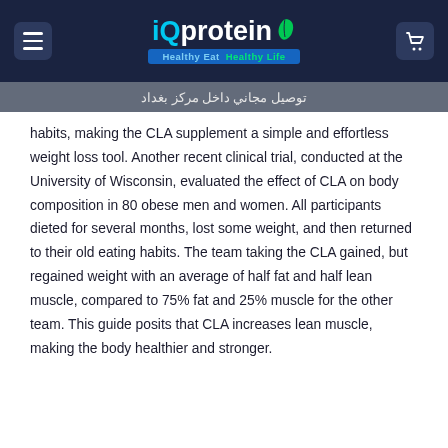iQprotein — Healthy Eat   Healthy Life
توصيل مجاني داخل مركز بغداد
habits, making the CLA supplement a simple and effortless weight loss tool. Another recent clinical trial, conducted at the University of Wisconsin, evaluated the effect of CLA on body composition in 80 obese men and women. All participants dieted for several months, lost some weight, and then returned to their old eating habits. The team taking the CLA gained, but regained weight with an average of half fat and half lean muscle, compared to 75% fat and 25% muscle for the other team. This guide posits that CLA increases lean muscle, making the body healthier and stronger.